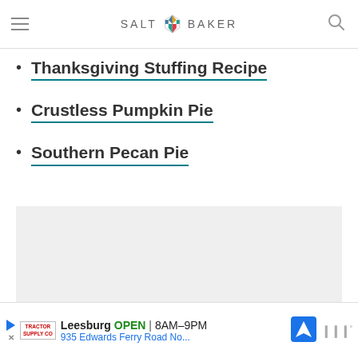SALT & BAKER
Thanksgiving Stuffing Recipe
Crustless Pumpkin Pie
Southern Pecan Pie
[Figure (other): Gray placeholder advertisement box]
Leesburg OPEN 8AM-9PM 935 Edwards Ferry Road No...